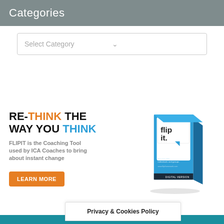Categories
Select Category
[Figure (illustration): Advertisement banner for FLIPIT Coaching Workshop. Left side shows bold text 'RE-THINK THE WAY YOU THINK' with orange and blue highlights, subtext 'FLIPIT is the Coaching Tool used by ICA Coaches to bring about instant change', and an orange 'LEARN MORE' button. Right side shows a product box image for 'flip it. Coaching Workshop - Digital Version'.]
Privacy & Cookies Policy